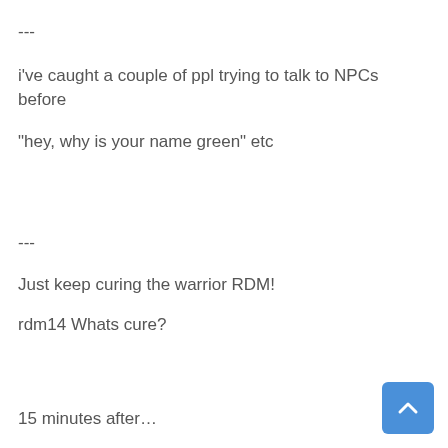---
i've caught a couple of ppl trying to talk to NPCs before
"hey, why is your name green" etc
---
Just keep curing the warrior RDM!
rdm14 Whats cure?
15 minutes after…